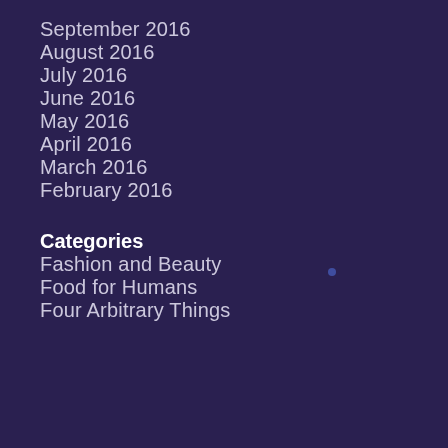September 2016
August 2016
July 2016
June 2016
May 2016
April 2016
March 2016
February 2016
Categories
Fashion and Beauty
Food for Humans
Four Arbitrary Things